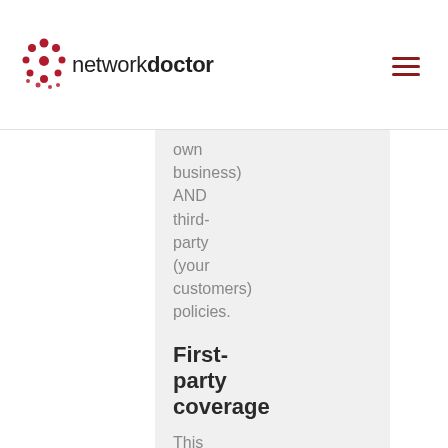network doctor
own business) AND third-party (your customers) policies.
First-party coverage
This coverage includes financial support f